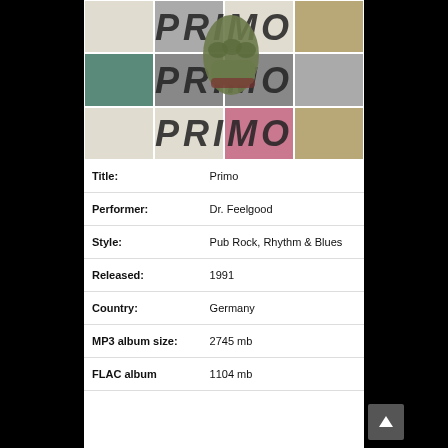[Figure (photo): Album cover for Primo by Dr. Feelgood. A collage of vintage black-and-white and color photographs of various people, with the word PRIMO repeated in large bold italic letters overlaid on the image. A bronze fist sculpture is centered in the foreground.]
| Title: | Primo |
| Performer: | Dr. Feelgood |
| Style: | Pub Rock, Rhythm & Blues |
| Released: | 1991 |
| Country: | Germany |
| MP3 album size: | 2745 mb |
| FLAC album | 1104 mb |